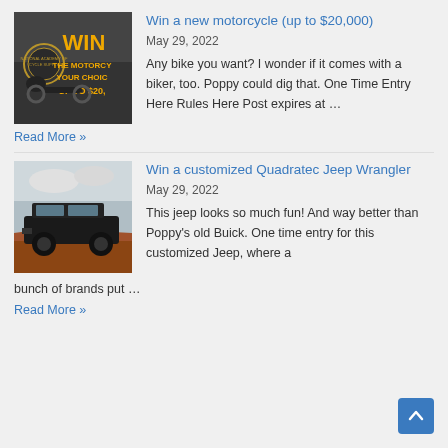[Figure (photo): Motorcycle contest advertisement image showing a motorcyclist and text 'WIN THE MOTORCYCLE YOUR CHOICE UP TO $20,000' in yellow/gold on dark background]
Win a new motorcycle (up to $20,000)
May 29, 2022
Any bike you want? I wonder if it comes with a biker, too. Poppy could dig that. One Time Entry Here Rules Here Post expires at …
Read More »
[Figure (photo): Black Jeep Wrangler SUV parked on a red rock cliff with cloudy sky background]
Win a customized Quadratec Jeep Wrangler
May 29, 2022
This jeep looks so much fun! And way better than Poppy's old Buick. One time entry for this customized Jeep, where a bunch of brands put …
Read More »